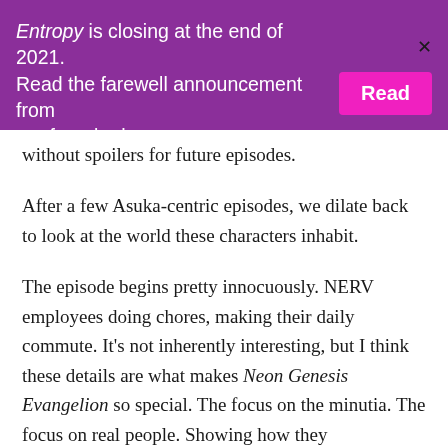Entropy is closing at the end of 2021. Read the farewell announcement from our founder here: [Read]
without spoilers for future episodes.
After a few Asuka-centric episodes, we dilate back to look at the world these characters inhabit.
The episode begins pretty innocuously. NERV employees doing chores, making their daily commute. It’s not inherently interesting, but I think these details are what makes Neon Genesis Evangelion so special. The focus on the minutia. The focus on real people. Showing how they